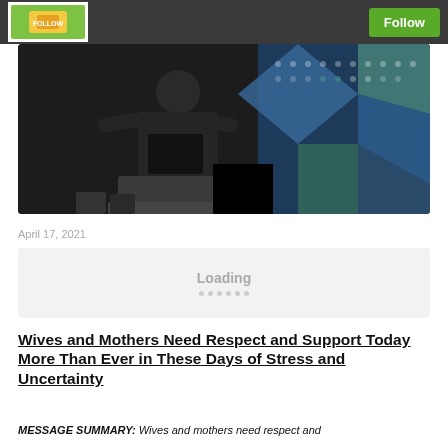Follow
[Figure (photo): A person standing at a podium or lectern in front of a decorative mosaic background with geometric patterns in blue, teal, and white. The person is wearing dark clothing.]
April 17, 2021
Loading
Wives and Mothers Need Respect and Support Today More Than Ever in These Days of Stress and Uncertainty
MESSAGE SUMMARY: Wives and mothers need respect and